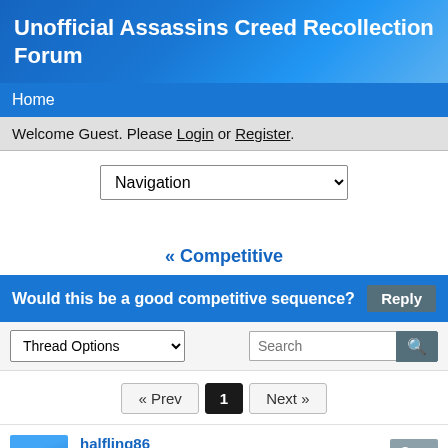Unofficial Assassins Creed Recollection Forum
Home
Welcome Guest. Please Login or Register.
Navigation
« Competitive
Would this be a good competitive sequence?
Thread Options
Search
« Prev  1  Next »
halfling86
New Member